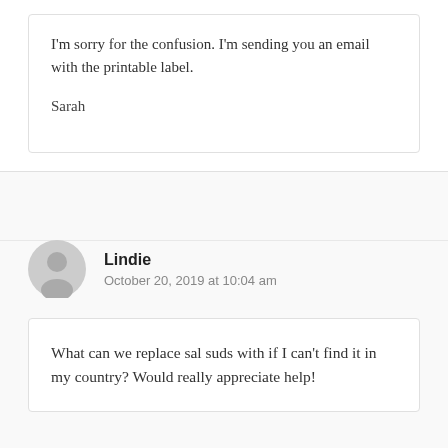I'm sorry for the confusion. I'm sending you an email with the printable label.

Sarah
Lindie
October 20, 2019 at 10:04 am
What can we replace sal suds with if I can't find it in my country? Would really appreciate help!